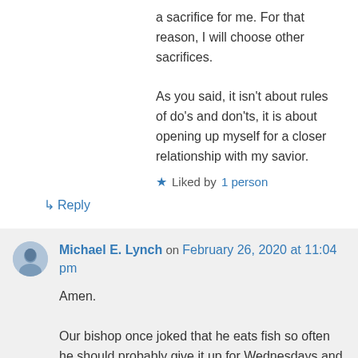a sacrifice for me. For that reason, I will choose other sacrifices. As you said, it isn't about rules of do's and don'ts, it is about opening up myself for a closer relationship with my savior.
★ Liked by 1 person
↳ Reply
Michael E. Lynch on February 26, 2020 at 11:04 pm
Amen. Our bishop once joked that he eats fish so often he should probably give it up for Wednesdays and Fridays during Lent.